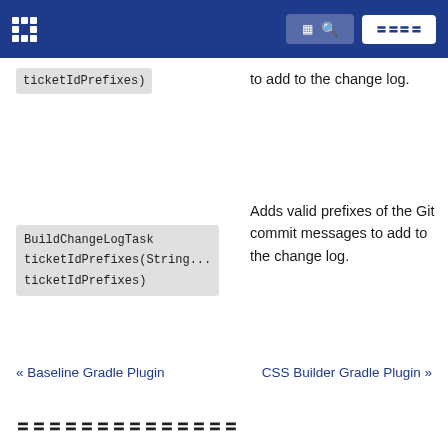ticketIdPrefixes)
to add to the change log.
BuildChangeLogTask ticketIdPrefixes(String... ticketIdPrefixes)
Adds valid prefixes of the Git commit messages to add to the change log.
« Baseline Gradle Plugin    CSS Builder Gradle Plugin »
〓〓〓〓〓〓〓〓〓〓〓〓〓〓